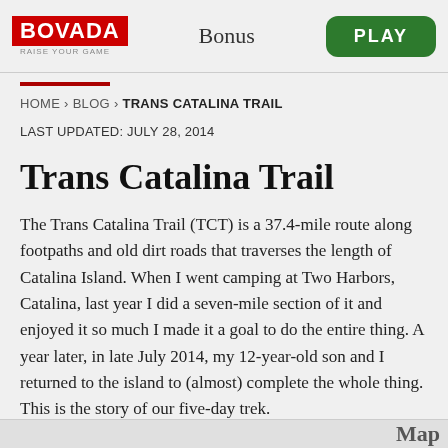[Figure (logo): Bovada logo with red background and 'RAISE YOUR GAME' tagline, Bonus text, and green PLAY button]
HOME › BLOG › TRANS CATALINA TRAIL
LAST UPDATED: JULY 28, 2014
Trans Catalina Trail
The Trans Catalina Trail (TCT) is a 37.4-mile route along footpaths and old dirt roads that traverses the length of Catalina Island. When I went camping at Two Harbors, Catalina, last year I did a seven-mile section of it and enjoyed it so much I made it a goal to do the entire thing. A year later, in late July 2014, my 12-year-old son and I returned to the island to (almost) complete the whole thing. This is the story of our five-day trek.
[Figure (photo): Partial thumbnail images at the bottom of the page]